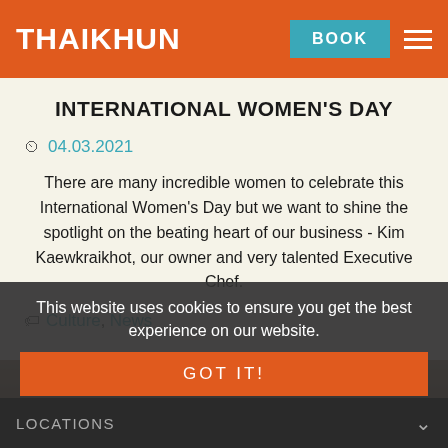THAIKHUN | BOOK
INTERNATIONAL WOMEN'S DAY
04.03.2021
There are many incredible women to celebrate this International Women's Day but we want to shine the spotlight on the beating heart of our business - Kim Kaewkraikhot, our owner and very talented Executive Chef.
Culture, News
This website uses cookies to ensure you get the best experience on our website.
GOT IT!
LOCATIONS